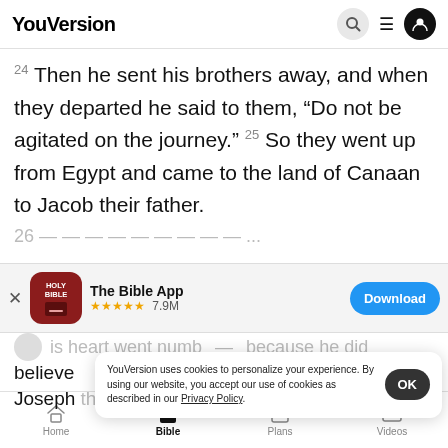YouVersion
24 Then he sent his brothers away, and when they departed he said to them, “Do not be agitated on the journey.” 25 So they went up from Egypt and came to the land of Canaan to Jacob their father.
[Figure (screenshot): App store banner for The Bible App with HOLY BIBLE icon, 5 star rating 7.9M reviews, and Download button]
his heart went numb because he did
believe
Joseph that he had spoken to them. And when he
YouVersion uses cookies to personalize your experience. By using our website, you accept our use of cookies as described in our Privacy Policy.
Home  Bible  Plans  Videos